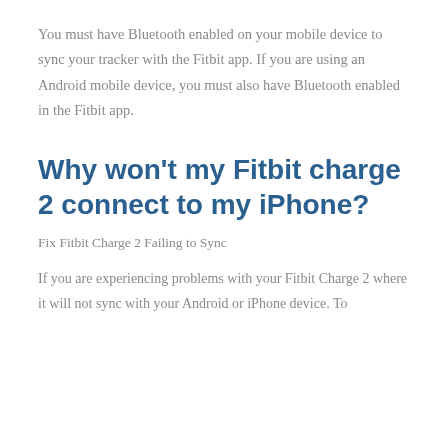You must have Bluetooth enabled on your mobile device to sync your tracker with the Fitbit app. If you are using an Android mobile device, you must also have Bluetooth enabled in the Fitbit app.
Why won't my Fitbit charge 2 connect to my iPhone?
Fix Fitbit Charge 2 Failing to Sync
If you are experiencing problems with your Fitbit Charge 2 where it will not sync with your Android or iPhone device. To